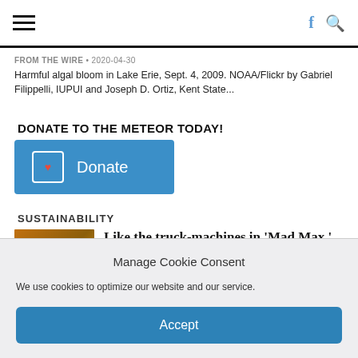Navigation bar with hamburger menu, Facebook and search icons
FROM THE WIRE  •  2020-04-30
Harmful algal bloom in Lake Erie, Sept. 4, 2009. NOAA/Flickr by Gabriel Filippelli, IUPUI and Joseph D. Ortiz, Kent State...
DONATE TO THE METEOR TODAY!
[Figure (other): Blue donate button with heart icon and text 'Donate']
SUSTAINABILITY
[Figure (photo): Thumbnail image with orange/brown tones]
Like the truck-machines in 'Mad Max,'
Manage Cookie Consent
We use cookies to optimize our website and our service.
Accept